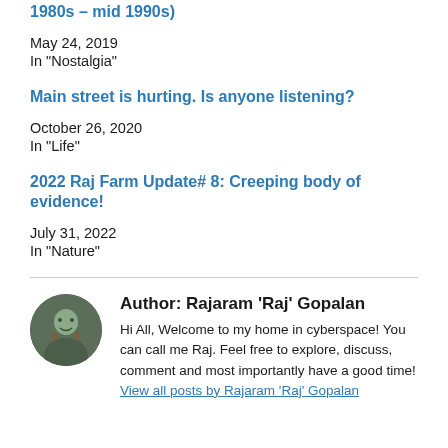1980s – mid 1990s)
May 24, 2019
In "Nostalgia"
Main street is hurting. Is anyone listening?
October 26, 2020
In "Life"
2022 Raj Farm Update# 8: Creeping body of evidence!
July 31, 2022
In "Nature"
Author: Rajaram 'Raj' Gopalan
Hi All, Welcome to my home in cyberspace! You can call me Raj. Feel free to explore, discuss, comment and most importantly have a good time! View all posts by Rajaram 'Raj' Gopalan